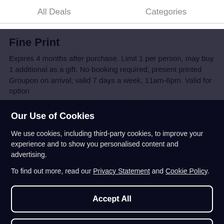All Deals    Categories
Fine Print
Expires 4 months after purchase. Limit 1 per person, may buy 1 additional as a gift. No booking required, present printed Groupon on arrival; valid 7 days a week, 11am-6pm. Valid for option
Quinoa Food, Camden Town
Located in Camden Market, Quinoa Food specialises in Peruvian food, but Columbian, Mexican and Venezuelan flavours are also present. The offer includes vegan, vegetarian, gluten-free and halal options. Founded by three Peruvian siblings back in 2000, the outlet aims to stay true to its South American roots, explore modern inspirations and incorporate nutritionally rich ingredients such as quinoa, avocado, kale and base maca; all soaked in their
Our Use of Cookies
We use cookies, including third-party cookies, to improve your experience and to show you personalised content and advertising.
To find out more, read our Privacy Statement and Cookie Policy.
Accept All
Reject All
My Options